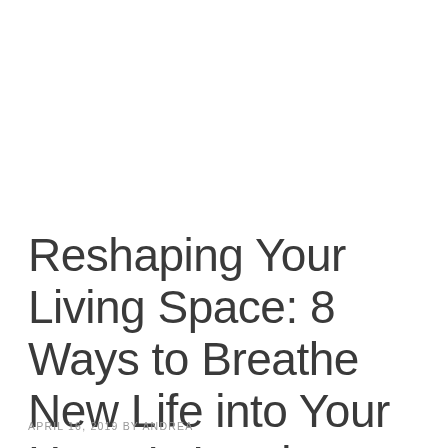Reshaping Your Living Space: 8 Ways to Breathe New Life into Your Home's Interior
APRIL 16, 2019 BY ANDREA